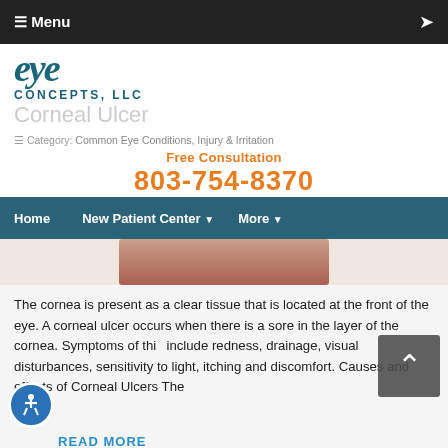≡ Menu
[Figure (logo): Eye Concepts LLC logo with stylized 'eye' text and 'CONCEPTS, LLC' below]
Corneal Ulcer
Category: Common Eye Conditions, Injury & Irritation
Free Consultation
803-754-8370
Home   New Patient Center ▼   More ▼
[Figure (photo): Close-up photo of a human eye]
The cornea is present as a clear tissue that is located at the front of the eye. A corneal ulcer occurs when there is a sore in the layer of the cornea. Symptoms of this include redness, drainage, visual disturbances, sensitivity to light, itching and discomfort. Causes and effects of Corneal Ulcers The
READ MORE